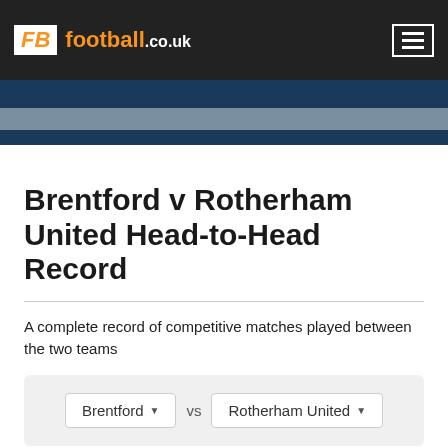FB football.co.uk
Brentford v Rotherham United Head-to-Head Record
A complete record of competitive matches played between the two teams
Brentford vs Rotherham United (team selector)
Brentford (31)   Rotherham United (31)